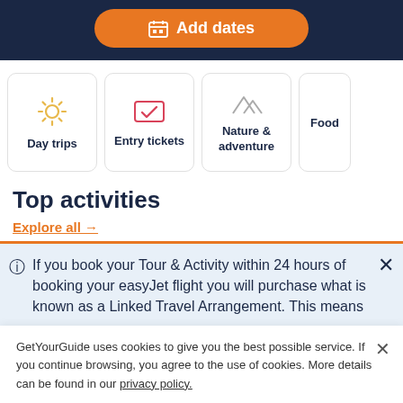[Figure (screenshot): Orange 'Add dates' button with calendar icon on navy background]
[Figure (infographic): Category cards row: Day trips (sun icon), Entry tickets (ticket icon), Nature & adventure (mountain icon), Food (partially visible)]
Top activities
Explore all →
ⓘ  If you book your Tour & Activity within 24 hours of booking your easyJet flight you will purchase what is known as a Linked Travel Arrangement. This means
GetYourGuide uses cookies to give you the best possible service. If you continue browsing, you agree to the use of cookies. More details can be found in our privacy policy.